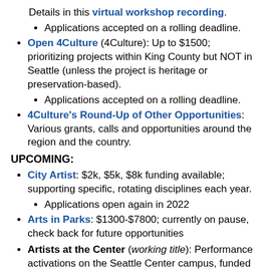Details in this virtual workshop recording.
Applications accepted on a rolling deadline.
Open 4Culture (4Culture): Up to $1500; prioritizing projects within King County but NOT in Seattle (unless the project is heritage or preservation-based).
Applications accepted on a rolling deadline.
4Culture's Round-Up of Other Opportunities: Various grants, calls and opportunities around the region and the country.
UPCOMING:
City Artist: $2k, $5k, $8k funding available; supporting specific, rotating disciplines each year.
Applications open again in 2022
Arts in Parks: $1300-$7800; currently on pause, check back for future opportunities
Artists at the Center (working title): Performance activations on the Seattle Center campus, funded by Climate Pledge Arena/Seattle Kraken. Pilot starts